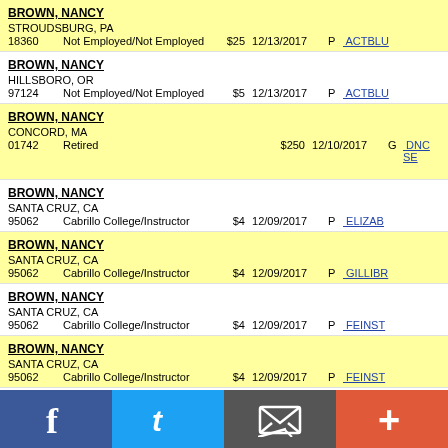| Name/Address | Employer/Occupation | Amount | Date | Type | Committee |
| --- | --- | --- | --- | --- | --- |
| BROWN, NANCY / STROUDSBURG, PA 18360 | Not Employed/Not Employed | $25 | 12/13/2017 | P | ACTBLU... |
| BROWN, NANCY / HILLSBORO, OR 97124 | Not Employed/Not Employed | $5 | 12/13/2017 | P | ACTBLU... |
| BROWN, NANCY / CONCORD, MA 01742 | Retired | $250 | 12/10/2017 | G | DNC SE... / Democr... |
| BROWN, NANCY / SANTA CRUZ, CA 95062 | Cabrillo College/Instructor | $4 | 12/09/2017 | P | ELIZAB... |
| BROWN, NANCY / SANTA CRUZ, CA 95062 | Cabrillo College/Instructor | $4 | 12/09/2017 | P | GILLIBR... |
| BROWN, NANCY / SANTA CRUZ, CA 95062 | Cabrillo College/Instructor | $4 | 12/09/2017 | P | FEINST... |
| BROWN, NANCY / SANTA CRUZ, CA 95062 | Cabrillo College/Instructor | $4 | 12/09/2017 | P | FEINST... |
| BROWN, NANCY M. MS. / MIDLAND, MI |  |  |  |  |  |
[Figure (infographic): Social media share bar with Facebook, Twitter, email/share, and add (+) buttons]